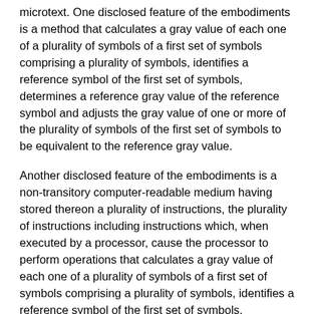microtext. One disclosed feature of the embodiments is a method that calculates a gray value of each one of a plurality of symbols of a first set of symbols comprising a plurality of symbols, identifies a reference symbol of the first set of symbols, determines a reference gray value of the reference symbol and adjusts the gray value of one or more of the plurality of symbols of the first set of symbols to be equivalent to the reference gray value.
Another disclosed feature of the embodiments is a non-transitory computer-readable medium having stored thereon a plurality of instructions, the plurality of instructions including instructions which, when executed by a processor, cause the processor to perform operations that calculates a gray value of each one of a plurality of symbols of a first set of symbols comprising a plurality of symbols, identifies a reference symbol of the first set of symbols, determines a reference gray value of the reference symbol and adjusts the gray value of one or more of the plurality of symbols of the first set of symbols to be equivalent to the reference gray value.
Another disclosed feature of the embodiments is an